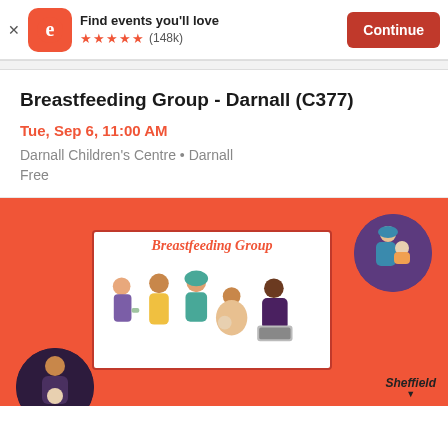[Figure (screenshot): Eventbrite app banner with logo, 'Find events you'll love', 5 star rating (148k reviews), and Continue button]
Breastfeeding Group - Darnall (C377)
Tue, Sep 6, 11:00 AM
Darnall Children's Centre • Darnall
Free
[Figure (illustration): Orange background promotional image for Breastfeeding Group showing diverse women with babies, a framed sign reading 'Breastfeeding Group', circular illustration of a woman in hijab holding a baby (top right), circular illustration of a person holding a baby (bottom left), and Sheffield logo bottom right]